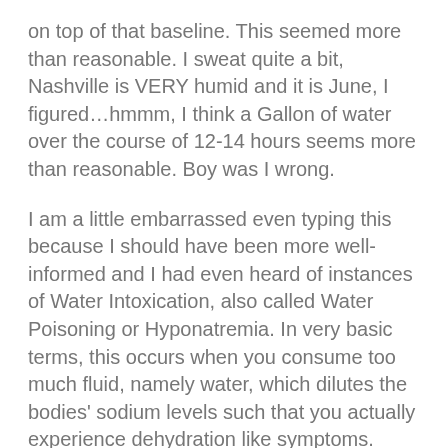on top of that baseline. This seemed more than reasonable. I sweat quite a bit, Nashville is VERY humid and it is June, I figured…hmmm, I think a Gallon of water over the course of 12-14 hours seems more than reasonable. Boy was I wrong.
I am a little embarrassed even typing this because I should have been more well-informed and I had even heard of instances of Water Intoxication, also called Water Poisoning or Hyponatremia. In very basic terms, this occurs when you consume too much fluid, namely water, which dilutes the bodies' sodium levels such that you actually experience dehydration like symptoms. Symptoms such as fatigue, nausea, brain fog, and headache. In severe cases Hyponatremia can be fatal…the cells throughout the body, including in the brain begin to swell due to the sodium imbalance and can